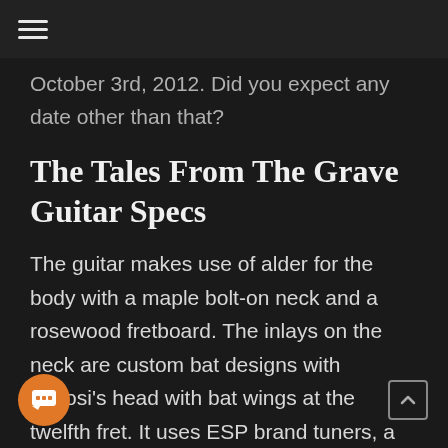≡
October 3rd, 2012. Did you expect any date other than that?
The Tales From The Grave Guitar Specs
The guitar makes use of alder for the body with a maple bolt-on neck and a rosewood fretboard. The inlays on the neck are custom bat designs with Lugosi's head with bat wings at the twelfth fret. It uses ESP brand tuners, a TOM bridge that strings up through the body, and uses an EMG 81 active humbucker next to the bridge with a